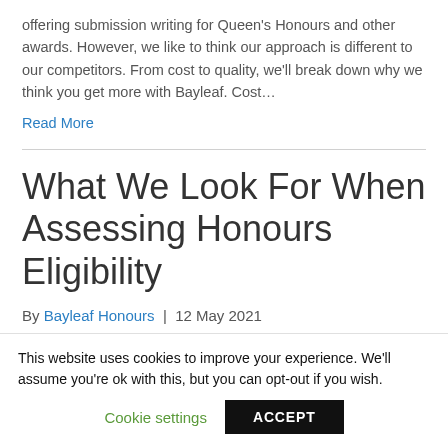offering submission writing for Queen's Honours and other awards. However, we like to think our approach is different to our competitors. From cost to quality, we'll break down why we think you get more with Bayleaf. Cost…
Read More
What We Look For When Assessing Honours Eligibility
By Bayleaf Honours | 12 May 2021
This website uses cookies to improve your experience. We'll assume you're ok with this, but you can opt-out if you wish.
Cookie settings | ACCEPT